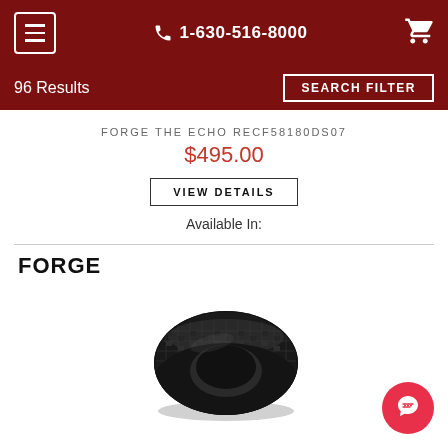☰  1-630-516-8000  🛒
96 Results
SEARCH FILTER
FORGE THE ECHO RECF58180DS07
$495.00
VIEW DETAILS
Available In:
FORGE
[Figure (photo): Black carbon fiber patterned ring (FORGE THE ECHO) viewed from a 3/4 angle showing the textured surface and dark finish]